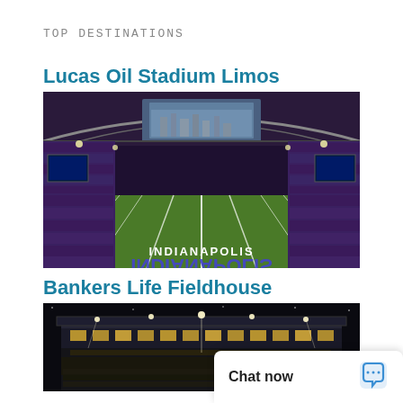TOP DESTINATIONS
Lucas Oil Stadium Limos
[Figure (photo): Interior aerial view of Lucas Oil Stadium in Indianapolis, full of spectators, with the green football field visible and 'INDIANAPOLIS' written in the end zone]
Bankers Life Fieldhouse
[Figure (photo): Night exterior view of Bankers Life Fieldhouse arena with lights illuminating the building and crowd visible]
Chat now